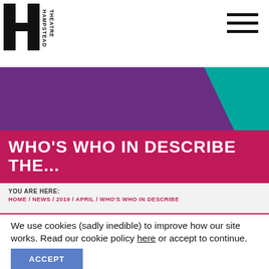Hampstead Theatre
[Figure (logo): Hampstead Theatre logo with stylized H and vertical text reading HAMPSTEAD THEATRE]
WHO'S WHO IN DESCRIBE THE...
YOU ARE HERE:
HOME / NEWS / 2019 / APRIL / WHO'S WHO IN DESCRIBE
We use cookies (sadly inedible) to improve how our site works. Read our cookie policy here or accept to continue.
ACCEPT